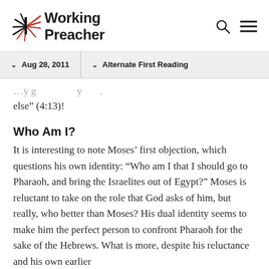Working Preacher
else” (4:13)!
Who Am I?
It is interesting to note Moses’ first objection, which questions his own identity: “Who am I that I should go to Pharaoh, and bring the Israelites out of Egypt?” Moses is reluctant to take on the role that God asks of him, but really, who better than Moses? His dual identity seems to make him the perfect person to confront Pharaoh for the sake of the Hebrews. What is more, despite his reluctance and his own earlier